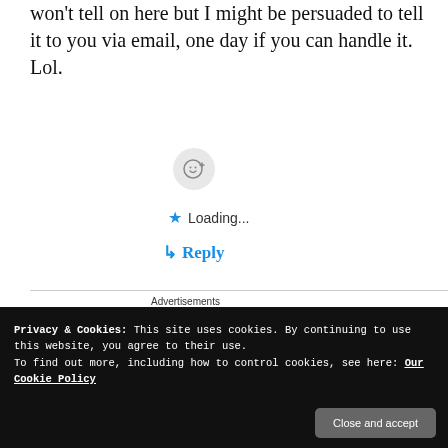won't tell on here but I might be persuaded to tell it to you via email, one day if you can handle it. Lol.
[Figure (other): Emoji reaction button (smiley face with plus icon)]
Loading...
↳ Reply
[Figure (other): Pocket Casts advertisement banner: 'An app by listeners, for listeners.' with phone image and Pocket Casts logo on red background]
Advertisements
REPORT THIS AD
Privacy & Cookies: This site uses cookies. By continuing to use this website, you agree to their use.
To find out more, including how to control cookies, see here: Our Cookie Policy
Close and accept
never be happy with it. Thats why I have gone back